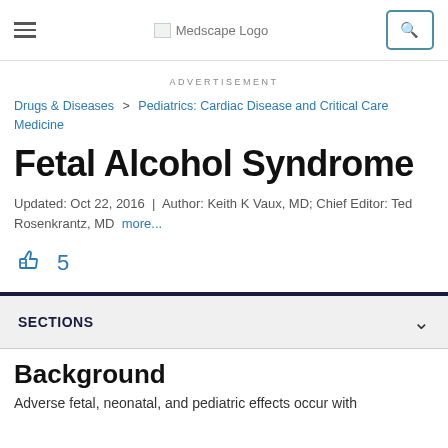Medscape Logo | Navigation
ADVERTISEMENT
Drugs & Diseases > Pediatrics: Cardiac Disease and Critical Care Medicine
Fetal Alcohol Syndrome
Updated: Oct 22, 2016 | Author: Keith K Vaux, MD; Chief Editor: Ted Rosenkrantz, MD more...
[Figure (illustration): Thumbs up like icon in blue with count of 5]
SECTIONS
Background
Adverse fetal, neonatal, and pediatric effects occur with